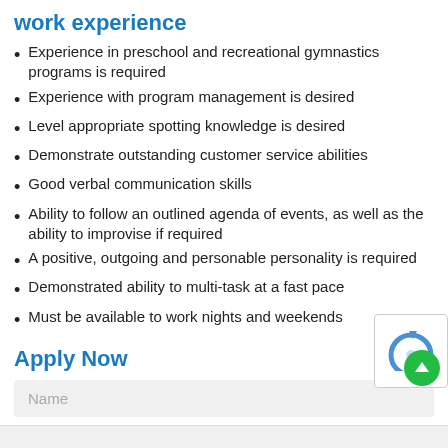work experience
Experience in preschool and recreational gymnastics programs is required
Experience with program management is desired
Level appropriate spotting knowledge is desired
Demonstrate outstanding customer service abilities
Good verbal communication skills
Ability to follow an outlined agenda of events, as well as the ability to improvise if required
A positive, outgoing and personable personality is required
Demonstrated ability to multi-task at a fast pace
Must be available to work nights and weekends
Apply Now
Name